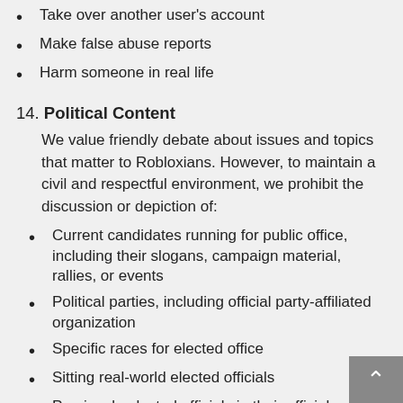Take over another user's account
Make false abuse reports
Harm someone in real life
14. Political Content
We value friendly debate about issues and topics that matter to Robloxians. However, to maintain a civil and respectful environment, we prohibit the discussion or depiction of:
Current candidates running for public office, including their slogans, campaign material, rallies, or events
Political parties, including official party-affiliated organization
Specific races for elected office
Sitting real-world elected officials
Previously-elected officials in their official capacity
Individuals who have previously run for political office in their capacity as candidates
Desecration of political entity symbols, including flag